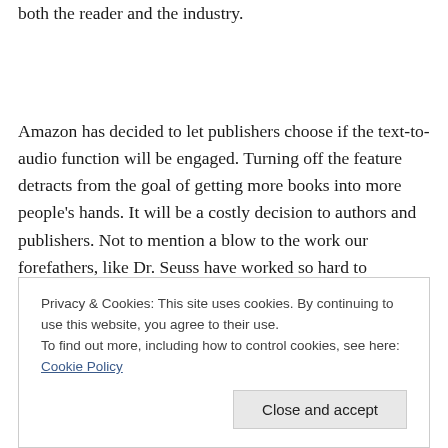both the reader and the industry.
Amazon has decided to let publishers choose if the text-to-audio function will be engaged. Turning off the feature detracts from the goal of getting more books into more people's hands. It will be a costly decision to authors and publishers. Not to mention a blow to the work our forefathers, like Dr. Seuss have worked so hard to
Privacy & Cookies: This site uses cookies. By continuing to use this website, you agree to their use.
To find out more, including how to control cookies, see here: Cookie Policy
[Close and accept]